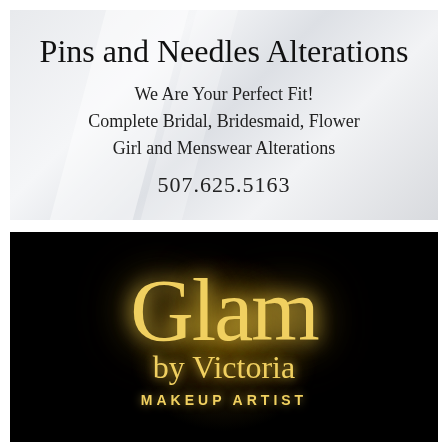[Figure (logo): Pins and Needles Alterations business card advertisement on light silver/grey background with diagonal highlight streaks. Cursive title 'Pins and Needles Alterations' at top, tagline 'We Are Your Perfect Fit! Complete Bridal, Bridesmaid, Flower Girl and Menswear Alterations', phone number 507.625.5163]
[Figure (logo): Glam by Victoria Makeup Artist logo on black background. Large gold glowing cursive 'Glam' text with 'by Victoria' in smaller cursive below, and 'MAKEUP ARTIST' text partially visible at bottom]